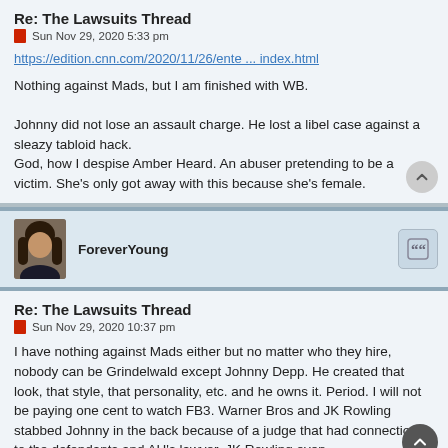Re: The Lawsuits Thread
Sun Nov 29, 2020 5:33 pm
https://edition.cnn.com/2020/11/26/ente ... index.html
Nothing against Mads, but I am finished with WB.

Johnny did not lose an assault charge. He lost a libel case against a sleazy tabloid hack.
God, how I despise Amber Heard. An abuser pretending to be a victim. She's only got away with this because she's female.
ForeverYoung
Re: The Lawsuits Thread
Sun Nov 29, 2020 10:37 pm
I have nothing against Mads either but no matter who they hire, nobody can be Grindelwald except Johnny Depp. He created that look, that style, that personality, etc. and he owns it. Period. I will not be paying one cent to watch FB3. Warner Bros and JK Rowling stabbed Johnny in the back because of a judge that had connections to the defendants and AH's lawyer. JK Rowling even